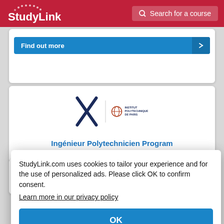[Figure (screenshot): StudyLink website header with red background, StudyLink logo on left and Search for a course search box on right]
Find out more
[Figure (logo): Ecole Polytechnique and Institut Polytechnique de Paris logos]
Ingénieur Polytechnicien Program
École
Find
StudyLink.com uses cookies to tailor your experience and for the use of personalized ads. Please click OK to confirm consent.
Learn more in our privacy policy
OK